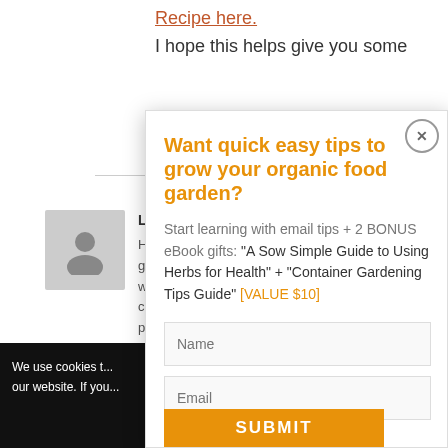Recipe here. I hope this helps give you some
[Figure (screenshot): User avatar placeholder — grey silhouette icon on grey background]
La...
H... ga... w... co... pa... sm...
We use cookies t... our website. If you...
Want quick easy tips to grow your organic food garden?
Start learning with email tips + 2 BONUS eBook gifts: "A Sow Simple Guide to Using Herbs for Health" + "Container Gardening Tips Guide" [VALUE $10]
Name
Email
SUBMIT